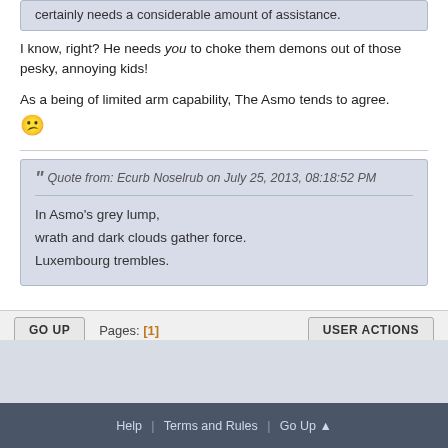certainly needs a considerable amount of assistance.
I know, right? He needs you to choke them demons out of those pesky, annoying kids!
As a being of limited arm capability, The Asmo tends to agree. [sad emoji]
Quote from: Ecurb Noselrub on July 25, 2013, 08:18:52 PM
In Asmo's grey lump,
wrath and dark clouds gather force.
Luxembourg trembles.
GO UP    Pages: [1]    USER ACTIONS
Help | Terms and Rules | Go Up ▲